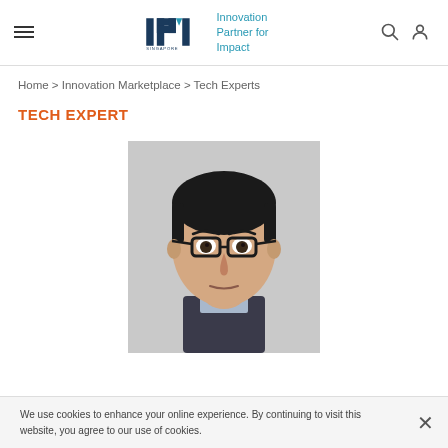IPI Singapore — Innovation Partner for Impact
Home > Innovation Marketplace > Tech Experts
TECH EXPERT
[Figure (photo): Headshot of an East Asian man wearing glasses and a dark suit jacket, light blue collared shirt, photographed against a light grey background.]
We use cookies to enhance your online experience. By continuing to visit this website, you agree to our use of cookies.